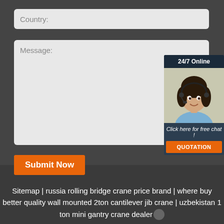Country:
Message:
Submit Now
[Figure (infographic): 24/7 Online chat widget with woman wearing headset, 'Click here for free chat!' text, and orange QUOTATION button]
Sitemap | russia rolling bridge crane price brand | where buy better quality wall mounted 2ton cantilever jib crane | uzbekistan 1 ton mini gantry crane dealer